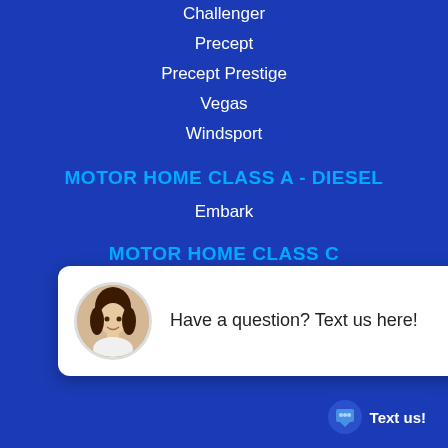Challenger
Precept
Precept Prestige
Vegas
Windsport
MOTOR HOME CLASS A - DIESEL
Embark
MOTOR HOME CLASS C
Four Winds
[Figure (other): Chat popup with female agent avatar and text 'Have a question? Text us here!']
MOTOR HOME CLASS C - DIESEL
Four Winds Sprinter
Melbourne